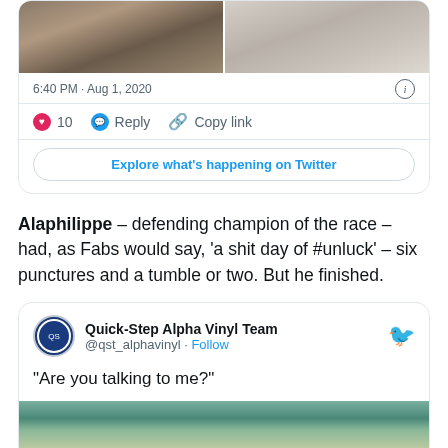[Figure (screenshot): Twitter/X tweet card showing two images (left: stormy scene, right: gravel/ground), timestamp 6:40 PM · Aug 1, 2020, with 10 likes, Reply, Copy link actions, and Explore what's happening on Twitter button]
Alaphilippe – defending champion of the race – had, as Fabs would say, 'a shit day of #unluck' – six punctures and a tumble or two. But he finished.
[Figure (screenshot): Twitter/X embed card from Quick-Step Alpha Vinyl Team @qst_alphavinyl with Follow link, quote text: "Are you talking to me?" and a photo of a person at the bottom]